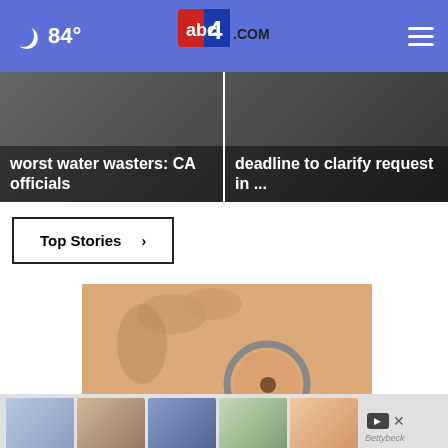84° abc4.com
[Figure (photo): News card: worst water wasters: CA officials]
[Figure (photo): News card: deadline to clarify request in ...]
Top Stories ›
[Figure (photo): Advertisement image showing a magnifying glass over skin with a mole, with smaller fashion thumbnail images in a strip below. Text overlay: Do You Know What Plaque Psoriasis...]